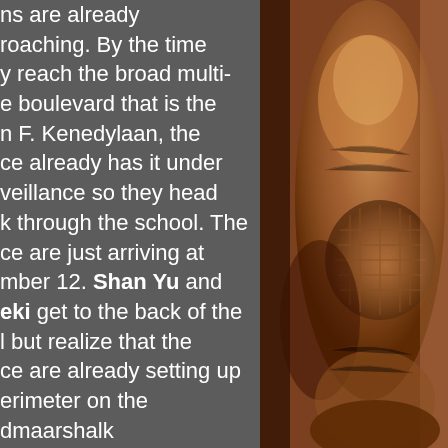ns are already proaching. By the time y reach the broad multi-e boulevard that is the n F. Kenedylaan, the ce already has it under veillance so they head k through the school. The ce are just arriving at mber 12. Shan Yu and eki get to the back of the l but realize that the ce are already setting up erimeter on the dmaarshalk ntgomerylaan. They ide to split up as the ce are looking for a ple, so they enter the
[Figure (photo): A decorative or artistic image on the right side of the page, appearing to show a wooden or carved figurine/statue with warm brown and orange tones.]